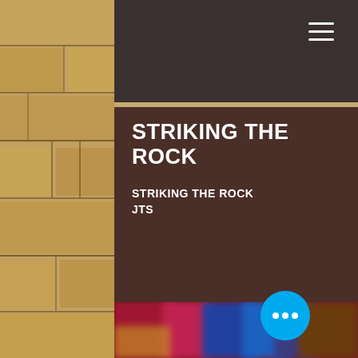[Figure (screenshot): Stone wall texture background on left side and right portion of page]
≡ (hamburger menu icon)
STRIKING THE ROCK
STRIKING THE ROCK
JTS
[Figure (illustration): Colorful blurred stained glass artwork with reds, blues, purples, and golds]